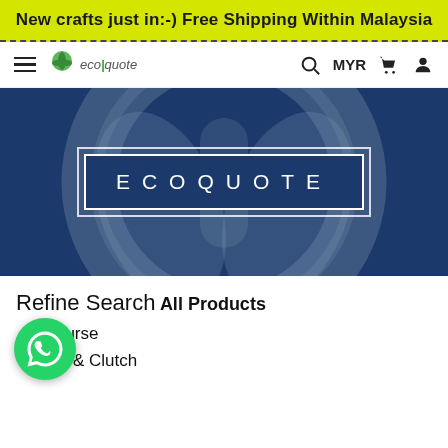New crafts just in:-) Free Shipping Within Malaysia
[Figure (logo): Ecoquote website navigation bar with hamburger menu, ecoquote leaf logo, search icon, MYR currency, cart icon, and user icon]
[Figure (photo): Hero banner with blurred HP logo on dark blue background, overlaid with white-bordered box containing text ECOQUOTE in wide letter-spacing]
Refine Search
All Products
& Purse
Bag & Clutch